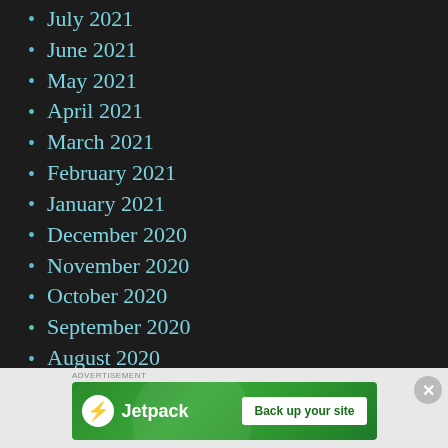July 2021
June 2021
May 2021
April 2021
March 2021
February 2021
January 2021
December 2020
November 2020
October 2020
September 2020
August 2020
July 2020
[Figure (other): Jetpack advertisement banner with logo and 'Back up your site' button on green background]